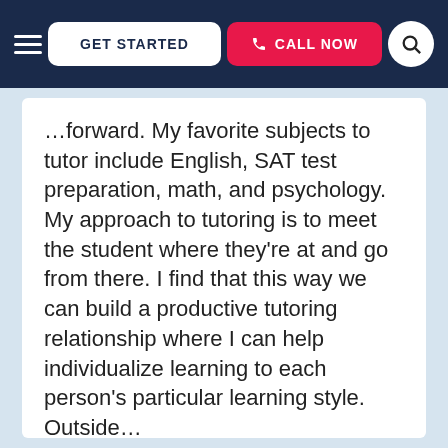GET STARTED | CALL NOW
…forward. My favorite subjects to tutor include English, SAT test preparation, math, and psychology. My approach to tutoring is to meet the student where they're at and go from there. I find that this way we can build a productive tutoring relationship where I can help individualize learning to each person's particular learning style. Outside…
Education & Certification
Northwestern University - Bachelors, Psychology
University of Chicago SSA - Masters, Social Work